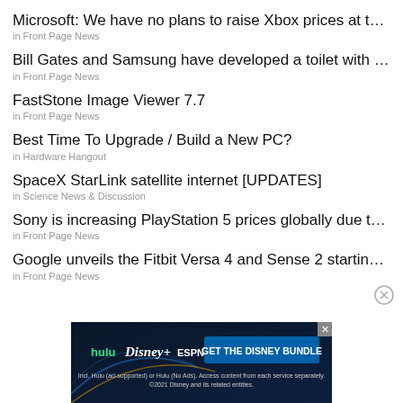Microsoft: We have no plans to raise Xbox prices at this...
in Front Page News
Bill Gates and Samsung have developed a toilet with an ...
in Front Page News
FastStone Image Viewer 7.7
in Front Page News
Best Time To Upgrade / Build a New PC?
in Hardware Hangout
SpaceX StarLink satellite internet [UPDATES]
in Science News & Discussion
Sony is increasing PlayStation 5 prices globally due to d...
in Front Page News
Google unveils the Fitbit Versa 4 and Sense 2 starting fr...
in Front Page News
[Figure (other): Disney Bundle advertisement banner with Hulu, Disney+, and ESPN+ logos, dark background, text: GET THE DISNEY BUNDLE. Incl. Hulu (ad-supported) or Hulu (No Ads). Access content from each service separately. ©2021 Disney and its related entities.]